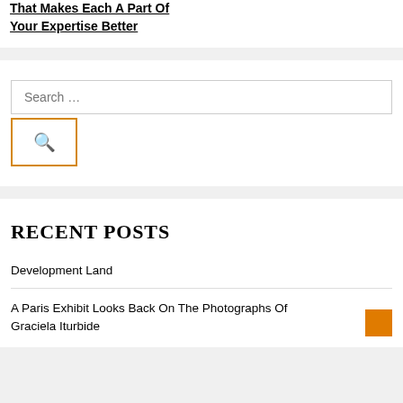That Makes Each A Part Of Your Expertise Better
[Figure (other): Search box with search input field and an orange-bordered search button with magnifying glass icon]
RECENT POSTS
Development Land
A Paris Exhibit Looks Back On The Photographs Of Graciela Iturbide